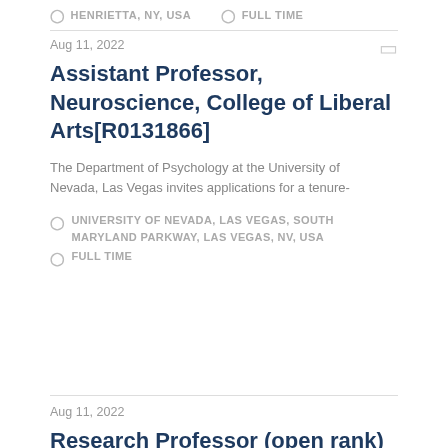HENRIETTA, NY, USA   FULL TIME
Aug 11, 2022
Assistant Professor, Neuroscience, College of Liberal Arts[R0131866]
The Department of Psychology at the University of Nevada, Las Vegas invites applications for a tenure-
UNIVERSITY OF NEVADA, LAS VEGAS, SOUTH MARYLAND PARKWAY, LAS VEGAS, NV, USA
FULL TIME
Aug 11, 2022
Research Professor (open rank)